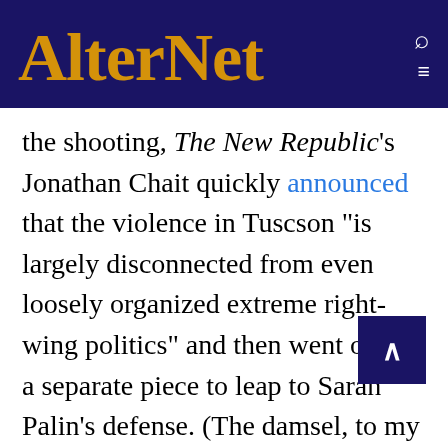AlterNet
the shooting, The New Republic’s Jonathan Chait quickly announced that the violence in Tuscson “is largely disconnected from even loosely organized extreme right-wing politics” and then went on in a separate piece to leap to Sarah Palin’s defense. (The damsel, to my knowledge, offered no thanks to her savior.) On it went. Speculation!  Conjecture! We must not politicize! A random act! Some commentators, including Blow, actually intimated that the left was glad that the killings had occurred just so they could discuss violent